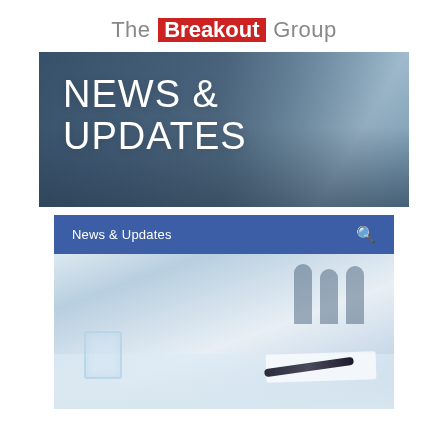[Figure (logo): The Breakout Group logo — 'The' and 'Group' in grey, 'Breakout' in white on red rectangle]
[Figure (illustration): Banner image with city skyline background in blue-grey tones with large white text NEWS & UPDATES]
[Figure (screenshot): Navigation bar in blue with 'News & Updates' label and search icon, followed by a photo of a business meeting scene with a glass of water, pen and paper on a table and blurred figures shaking hands in the background]